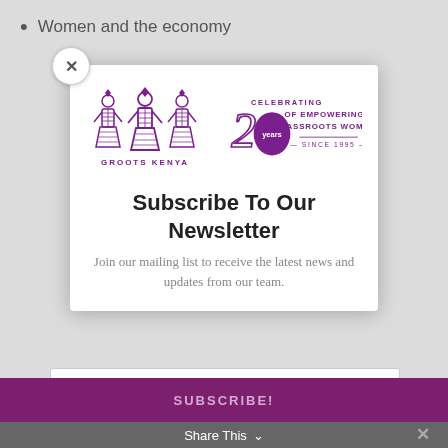Women and the economy
[Figure (logo): GROOTS Kenya logo with 20 years celebrating of empowering grassroots women since 1995]
Subscribe To Our Newsletter
Join our mailing list to receive the latest news and updates from our team.
Email
SUBSCRIBE!
Share This